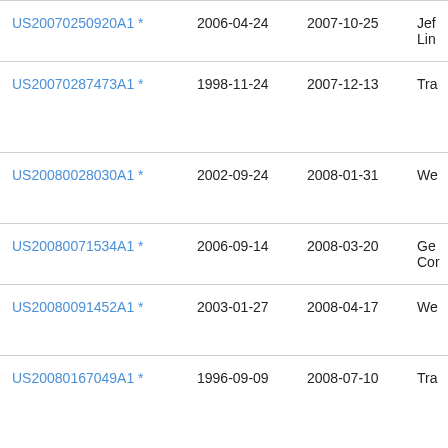| US20070250920A1 * | 2006-04-24 | 2007-10-25 | Jef Lin |
| US20070287473A1 * | 1998-11-24 | 2007-12-13 | Tra |
| US20080028030A1 * | 2002-09-24 | 2008-01-31 | We |
| US20080071534A1 * | 2006-09-14 | 2008-03-20 | Ge Cor |
| US20080091452A1 * | 2003-01-27 | 2008-04-17 | We |
| US20080167049A1 * | 1996-09-09 | 2008-07-10 | Tra |